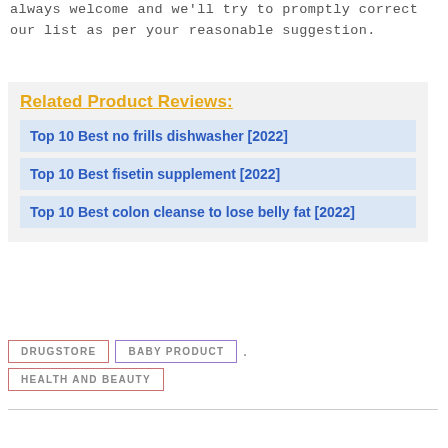always welcome and we'll try to promptly correct our list as per your reasonable suggestion.
Related Product Reviews:
Top 10 Best no frills dishwasher [2022]
Top 10 Best fisetin supplement [2022]
Top 10 Best colon cleanse to lose belly fat [2022]
DRUGSTORE
BABY PRODUCT
HEALTH AND BEAUTY